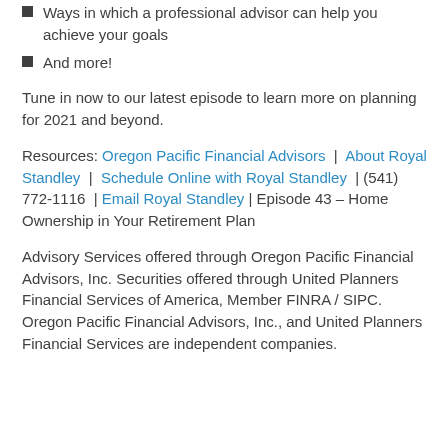Ways in which a professional advisor can help you achieve your goals
And more!
Tune in now to our latest episode to learn more on planning for 2021 and beyond.
Resources: Oregon Pacific Financial Advisors | About Royal Standley | Schedule Online with Royal Standley | (541) 772-1116 | Email Royal Standley | Episode 43 – Home Ownership in Your Retirement Plan
Advisory Services offered through Oregon Pacific Financial Advisors, Inc. Securities offered through United Planners Financial Services of America, Member FINRA / SIPC. Oregon Pacific Financial Advisors, Inc., and United Planners Financial Services are independent companies.